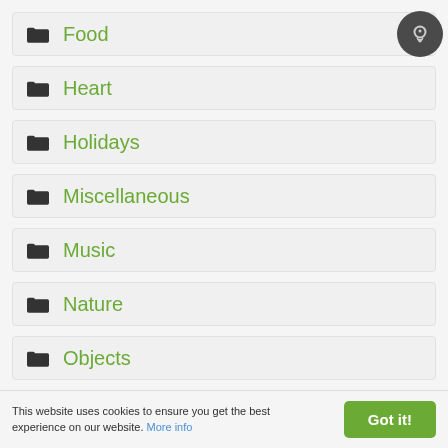Food
Heart
Holidays
Miscellaneous
Music
Nature
Objects
This website uses cookies to ensure you get the best experience on our website. More info